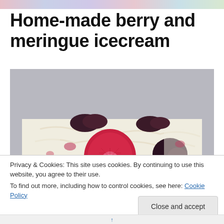[Figure (photo): Colorful banner strip at top of webpage with blurred food/lifestyle imagery]
Home-made berry and meringue icecream
[Figure (photo): A loaf-shaped berry and meringue ice cream on a white plate, showing cross-section with strawberries and dark berries embedded in cream]
Privacy & Cookies: This site uses cookies. By continuing to use this website, you agree to their use.
To find out more, including how to control cookies, see here: Cookie Policy
Close and accept